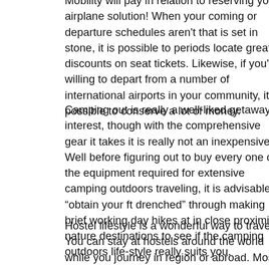Mobility will pay in relation to reserving your airplane solution! When your coming or departure schedules aren't that is set in stone, it is possible to periods locate greater discounts on seat tickets. Likewise, if you're willing to depart from a number of international airports in your community, it is possible to conserve a lot of money.
Camping out is really a well-liked getaway interest, though with the comprehensive gear it takes it is really not an inexpensive 1. Well before figuring out to buy every one of the equipment required for extensive camping outdoors traveling, it is advisable to “obtain your ft drenched” through making brief working day hikes at in close proximity nature destinations to see if the camping outdoors life-style really suits you.
Hostel lifestyle is a wonderful way to travel. You can stay at hostels around the world while you journey in region or abroad. Most will allow you to continue to be totally free, although some charge a very tiny payment